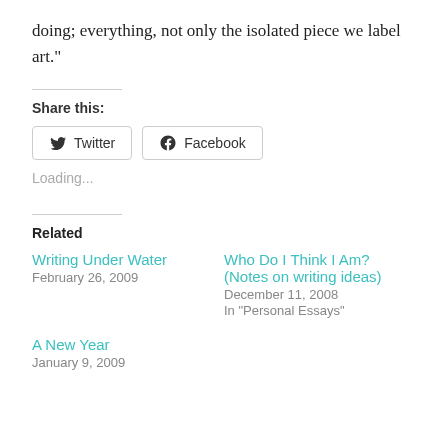doing; everything, not only the isolated piece we label art."
Share this:
[Figure (other): Twitter and Facebook share buttons]
Loading...
Related
Writing Under Water
February 26, 2009
Who Do I Think I Am? (Notes on writing ideas)
December 11, 2008
In "Personal Essays"
A New Year
January 9, 2009